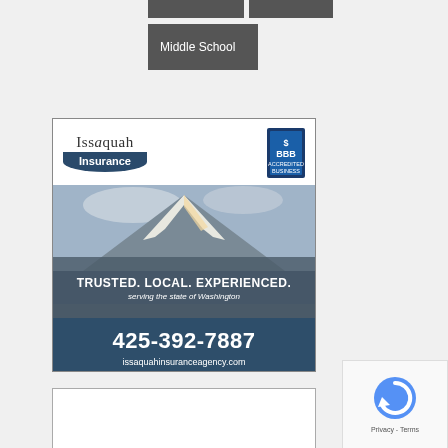[Figure (other): Navigation buttons: two dark grey buttons at top, one dark grey button labeled 'Middle School' below]
[Figure (infographic): Issaquah Insurance advertisement. White header with 'Issaquah Insurance' logo and BBB badge. Mountain photo (snow-capped peak). Tagline: 'TRUSTED. LOCAL. EXPERIENCED.' and 'serving the state of Washington'. Dark blue footer with phone 425-392-7887 and website issaquahinsuranceagency.com]
[Figure (other): reCAPTCHA widget showing circular arrow icon and 'Privacy - Terms' text]